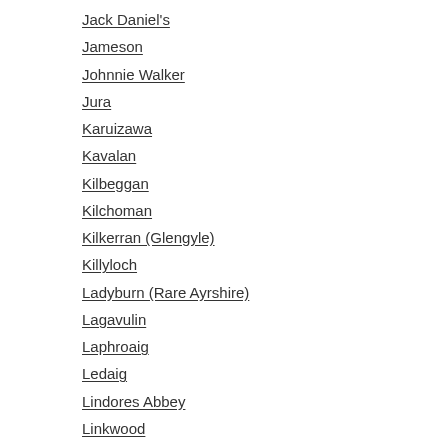Jack Daniel's
Jameson
Johnnie Walker
Jura
Karuizawa
Kavalan
Kilbeggan
Kilchoman
Kilkerran (Glengyle)
Killyloch
Ladyburn (Rare Ayrshire)
Lagavulin
Laphroaig
Ledaig
Lindores Abbey
Linkwood
Littlemill
Longmorn
Longrow